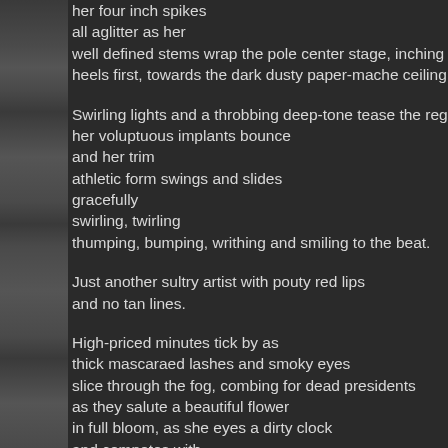[Figure (photo): A narrow vertical strip of a rocky/stone textured surface, dark and mottled, running the full height of the left side of the page.]
her four inch spikes
all aglitter as her
well defined stems wrap the pole center stage, inching their w
heels first, towards the dark dusty paper-mache ceiling.

Swirling lights and a throbbing deep-tone tease the regulars a
her voluptuous implants bounce
and her trim
athletic form swings and slides
gracefully
swirling, twirling
thumping, bumping, writhing and smiling to the beat.

Just another sultry artist with pouty red lips
and no tan lines.

High-priced minutes tick by as
thick mascaraed lashes and smoky eyes
slice through the fog, combing for dead presidents
as they salute a beautiful flower
in full bloom, as she eyes a dirty clock
and competes with